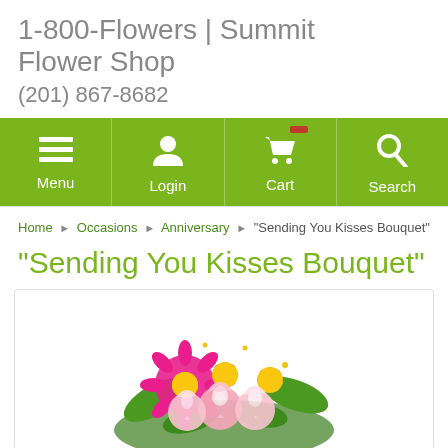1-800-Flowers | Summit Flower Shop
(201) 867-8682
[Figure (screenshot): Green navigation bar with Menu, Login, Cart, and Search icons]
Home ▶ Occasions ▶ Anniversary ▶ "Sending You Kisses Bouquet"
"Sending You Kisses Bouquet"
[Figure (photo): Flower bouquet with pink roses, bright pink daisies, and white small flowers]